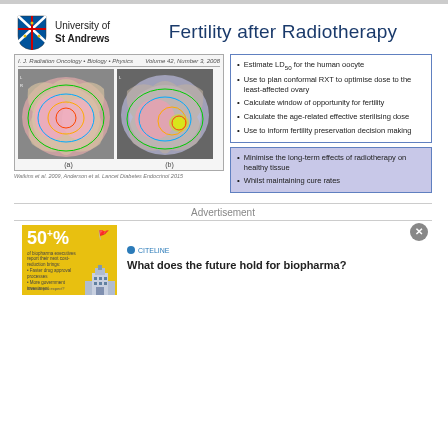[Figure (logo): University of St Andrews shield logo]
University of
St Andrews
Fertility after Radiotherapy
[Figure (photo): Two medical imaging scans (a) and (b) showing radiotherapy planning CT/MRI images of the pelvis with dose contours overlaid, from a Radiation Oncology / Biology / Physics journal, Volume 42, Number 3, 2008]
Watkins et al. 2009, Anderson et al. Lancet Diabetes Endocrinol 2015
Estimate LD50 for the human oocyte
Use to plan conformal RXT to optimise dose to the least-affected ovary
Calculate window of opportunity for fertility
Calculate the age-related effective sterilising dose
Use to inform fertility preservation decision making
Minimise the long-term effects of radiotherapy on healthy tissue
Whilst maintaining cure rates
Advertisement
[Figure (infographic): Yellow advertisement banner with '50+%' text and bullet points about biopharma, with a building illustration]
What does the future hold for biopharma?